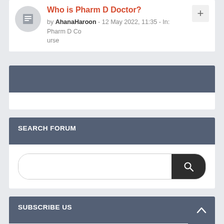Who is Pharm D Doctor? by AhanaHaroon - 12 May 2022, 11:35 - In: Pharm D Course
SEARCH FORUM
Search input field with search button
SUBSCRIBE US
Enter your email address: